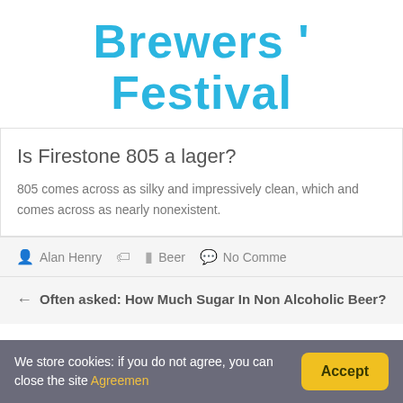Brewers ' Festival
Is Firestone 805 a lager?
805 comes across as silky and impressively clean, which and comes across as nearly nonexistent.
Alan Henry   Beer   No Comme
← Often asked: How Much Sugar In Non Alcoholic Beer?
Leave a Reply
We store cookies: if you do not agree, you can close the site Agreemen